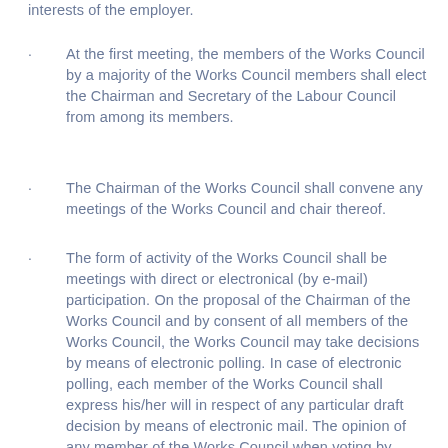interests of the employer.
At the first meeting, the members of the Works Council by a majority of the Works Council members shall elect the Chairman and Secretary of the Labour Council from among its members.
The Chairman of the Works Council shall convene any meetings of the Works Council and chair thereof.
The form of activity of the Works Council shall be meetings with direct or electronical (by e-mail) participation. On the proposal of the Chairman of the Works Council and by consent of all members of the Works Council, the Works Council may take decisions by means of electronic polling. In case of electronic polling, each member of the Works Council shall express his/her will in respect of any particular draft decision by means of electronic mail. The opinion of any member of the Works Council when voting by means of electronic poling shall be expressed by replying to the electronic mail and